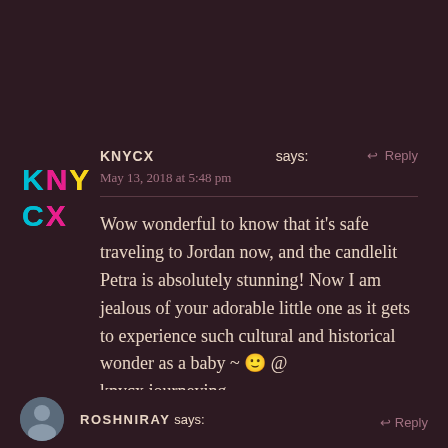[Figure (logo): KNYCX colorful logo/avatar with letters K, N, Y, C, X in cyan, magenta, yellow colors]
KNYCX says:
May 13, 2018 at 5:48 pm
↩ Reply
Wow wonderful to know that it's safe traveling to Jordan now, and the candlelit Petra is absolutely stunning! Now I am jealous of your adorable little one as it gets to experience such cultural and historical wonder as a baby ~ 🙂 @ knycx.journeying.
★ Liked by 1 person
ROSHNIRAY says:
↩ Reply